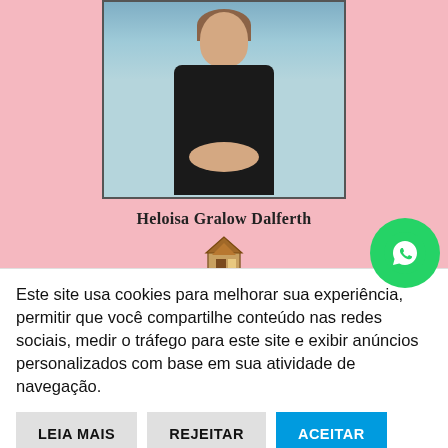[Figure (photo): Book cover with pink background showing a Renaissance-style portrait painting of a woman in dark clothing with white collar and red bodice detail. Author name 'Heloisa Gralow Dalferth' printed below the painting, with a small house/publisher logo beneath.]
Este site usa cookies para melhorar sua experiência, permitir que você compartilhe conteúdo nas redes sociais, medir o tráfego para este site e exibir anúncios personalizados com base em sua atividade de navegação.
LEIA MAIS
REJEITAR
ACEITAR